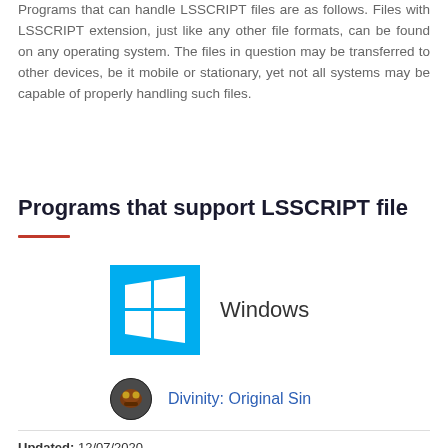Programs that can handle LSSCRIPT files are as follows. Files with LSSCRIPT extension, just like any other file formats, can be found on any operating system. The files in question may be transferred to other devices, be it mobile or stationary, yet not all systems may be capable of properly handling such files.
Programs that support LSSCRIPT file
[Figure (logo): Windows logo icon (blue square with white four-pane window grid) followed by the label 'Windows']
[Figure (logo): Divinity: Original Sin app icon (circular game artwork) followed by link text 'Divinity: Original Sin']
Updated: 12/07/2020